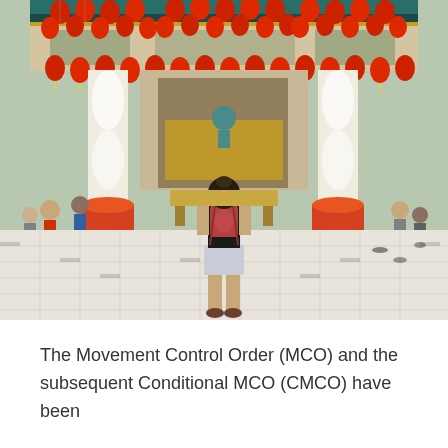[Figure (photo): A woman with a red backpack standing in the courtyard of a Chinese temple decorated with red lanterns hanging from the roof. She is viewed from behind, standing on tiled ground. The temple entrance is visible with people gathered around an altar, and columns wrapped in white with dragon motifs are on either side.]
The Movement Control Order (MCO) and the subsequent Conditional MCO (CMCO) have been